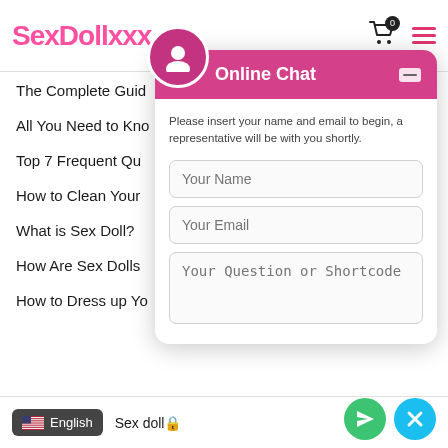SexDollxxx
The Complete Guid
All You Need to Kno
Top 7 Frequent Qu
How to Clean Your
What is Sex Doll?
How Are Sex Dolls
How to Dress up Yo
[Figure (screenshot): Online Chat widget overlay with avatar icon, pink header showing 'Online Chat', text 'Please insert your name and email to begin, a representative will be with you shortly.', input fields for Your Name, Your Email, and Your Question or Shortcode]
English   Sex doll🔒